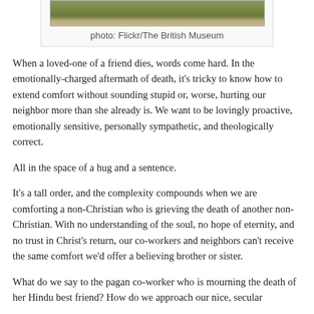[Figure (photo): Partial view of a medieval or historical painting/illustration, showing a landscape or building scene. Caption below reads 'photo: Flickr/The British Museum']
photo: Flickr/The British Museum
When a loved-one of a friend dies, words come hard. In the emotionally-charged aftermath of death, it's tricky to know how to extend comfort without sounding stupid or, worse, hurting our neighbor more than she already is. We want to be lovingly proactive, emotionally sensitive, personally sympathetic, and theologically correct.
All in the space of a hug and a sentence.
It's a tall order, and the complexity compounds when we are comforting a non-Christian who is grieving the death of another non-Christian. With no understanding of the soul, no hope of eternity, and no trust in Christ's return, our co-workers and neighbors can't receive the same comfort we'd offer a believing brother or sister.
What do we say to the pagan co-worker who is mourning the death of her Hindu best friend? How do we approach our nice, secular